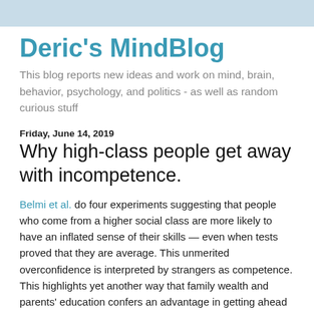Deric's MindBlog
This blog reports new ideas and work on mind, brain, behavior, psychology, and politics - as well as random curious stuff
Friday, June 14, 2019
Why high-class people get away with incompetence.
Belmi et al. do four experiments suggesting that people who come from a higher social class are more likely to have an inflated sense of their skills — even when tests proved that they are average. This unmerited overconfidence is interpreted by strangers as competence. This highlights yet another way that family wealth and parents' education confers an advantage in getting ahead in life.
Understanding how socioeconomic inequalities